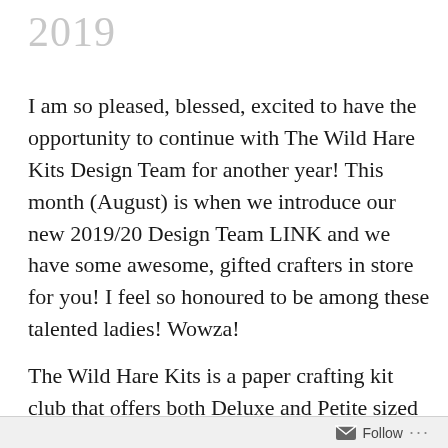2019
I am so pleased, blessed, excited to have the opportunity to continue with The Wild Hare Kits Design Team for another year! This month (August) is when we introduce our new 2019/20 Design Team LINK and we have some awesome, gifted crafters in store for you! I feel so honoured to be among these talented ladies! Wowza!
The Wild Hare Kits is a paper crafting kit club that offers both Deluxe and Petite sized kits that
Follow ...